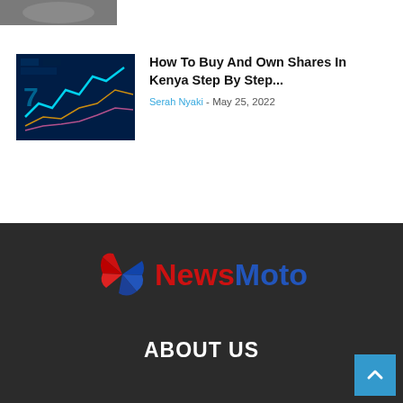[Figure (photo): Partial cropped image at top left, dark/grey tones, person or object barely visible]
[Figure (photo): Thumbnail image of stock market chart with glowing blue digital lines and graphs on dark background]
How To Buy And Own Shares In Kenya Step By Step...
Serah Nyaki - May 25, 2022
[Figure (logo): News Moto logo with stylized red and blue angular arrow/globe icon, text 'News' in red and 'Moto' in blue on dark background]
ABOUT US